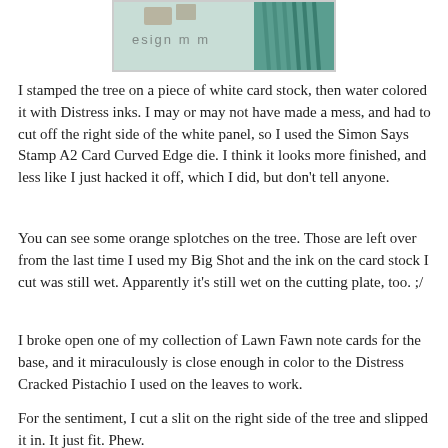[Figure (photo): Partial view of a stamped and watercolored card with teal/green and orange tones, partially cropped at the top of the page.]
I stamped the tree on a piece of white card stock, then water colored it with Distress inks. I may or may not have made a mess, and had to cut off the right side of the white panel, so I used the Simon Says Stamp A2 Card Curved Edge die. I think it looks more finished, and less like I just hacked it off, which I did, but don't tell anyone.
You can see some orange splotches on the tree. Those are left over from the last time I used my Big Shot and the ink on the card stock I cut was still wet. Apparently it's still wet on the cutting plate, too. ;/
I broke open one of my collection of Lawn Fawn note cards for the base, and it miraculously is close enough in color to the Distress Cracked Pistachio I used on the leaves to work.
For the sentiment, I cut a slit on the right side of the tree and slipped it in. It just fit. Phew.